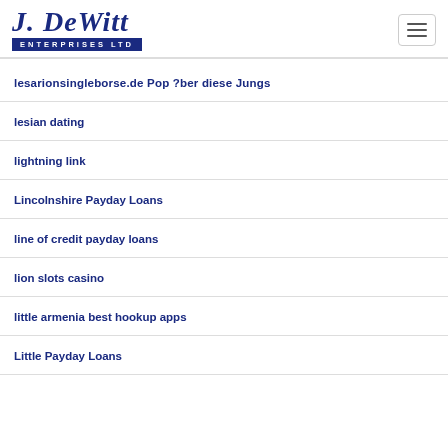[Figure (logo): J. DeWitt Enterprises Ltd logo with script text and blue banner]
lesarionsingleborse.de Pop ?ber diese Jungs
lesian dating
lightning link
Lincolnshire Payday Loans
line of credit payday loans
lion slots casino
little armenia best hookup apps
Little Payday Loans